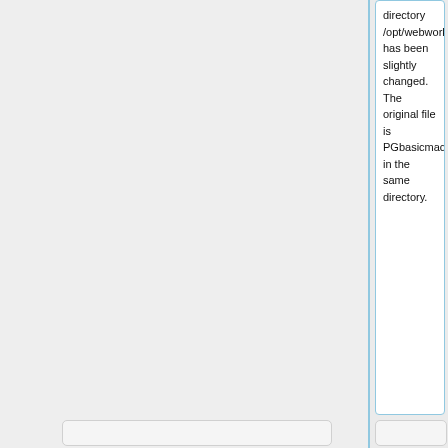directory /opt/webwork/pg/macros) has been slightly changed. The original file is PGbasicmacros.pl.bak1 in the same directory.
'"However"' this fix causes trouble with WeBWorK problems that use the associated macros incorrectly in Math Mode (see https://webwork.maa.org/moodle/